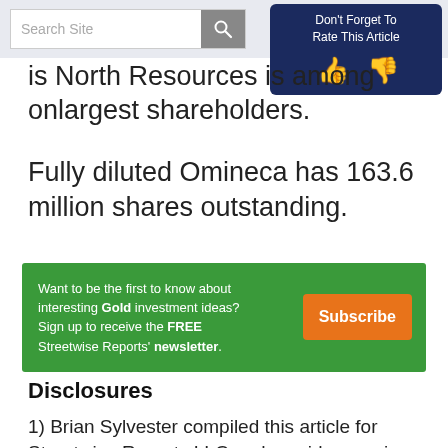Search Site | Don't Forget To Rate This Article
is North Resources is among one of the largest shareholders.
Fully diluted Omineca has 163.6 million shares outstanding.
[Figure (infographic): Green banner advertisement: Want to be the first to know about interesting Gold investment ideas? Sign up to receive the FREE Streetwise Reports' newsletter. Subscribe button in orange.]
Disclosures
1) Brian Sylvester compiled this article for Streetwise Reports LLC and provides services to Streetwise Reports as an employee. They or